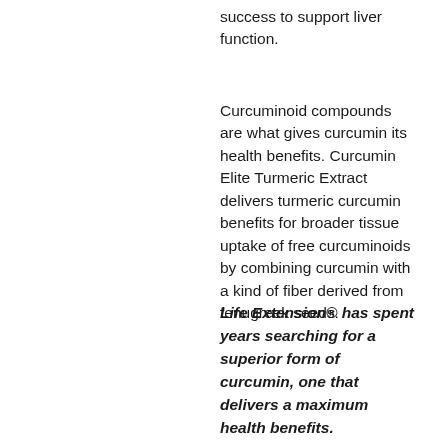success to support liver function.
Curcuminoid compounds are what gives curcumin its health benefits. Curcumin Elite Turmeric Extract delivers turmeric curcumin benefits for broader tissue uptake of free curcuminoids by combining curcumin with a kind of fiber derived from fenugreek seeds.
Life Extension® has spent years searching for a superior form of curcumin, one that delivers a maximum health benefits.